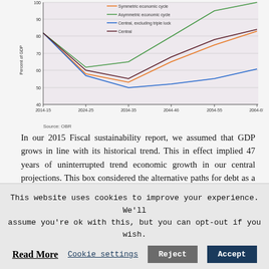[Figure (line-chart): Debt as percent of GDP under economic cycle scenarios]
Source: OBR
In our 2015 Fiscal sustainability report, we assumed that GDP grows in line with its historical trend. This in effect implied 47 years of uninterrupted trend economic growth in our central projections. This box considered the alternative paths for debt as a share of GDP under an symmetric and asymmetric cycle,
This website uses cookies to improve your experience. We'll assume you're ok with this, but you can opt-out if you wish.